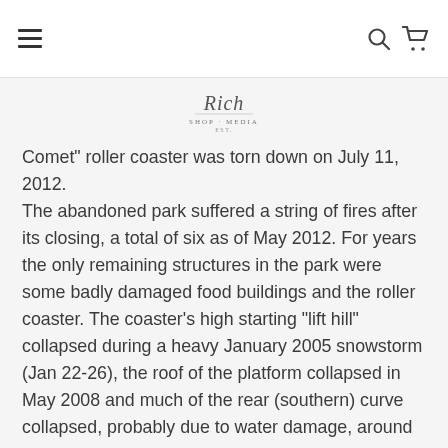Navigation bar with hamburger menu, search icon, and cart icon
[Figure (logo): Decorative script/cursive logo with stylized text]
Comet" roller coaster was torn down on July 11, 2012. The abandoned park suffered a string of fires after its closing, a total of six as of May 2012. For years the only remaining structures in the park were some badly damaged food buildings and the roller coaster. The coaster's high starting "lift hill" collapsed during a heavy January 2005 snowstorm (Jan 22-26), the roof of the platform collapsed in May 2008 and much of the rear (southern) curve collapsed, probably due to water damage, around mid-May 2009. Two of the remaining buildings near the roller coaster partially collapsed in early 2008, both buildings collapsed by early 2010. The remainder of the roller coaster that